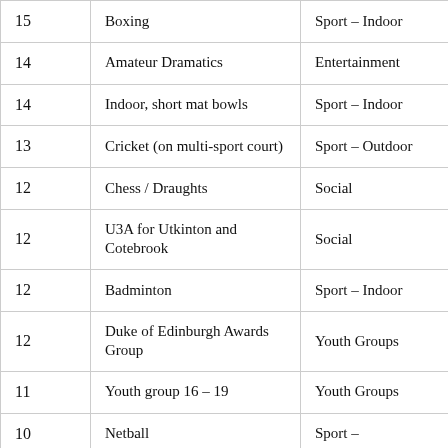| 15 | Boxing | Sport – Indoor |
| 14 | Amateur Dramatics | Entertainment |
| 14 | Indoor, short mat bowls | Sport – Indoor |
| 13 | Cricket (on multi-sport court) | Sport – Outdoor |
| 12 | Chess / Draughts | Social |
| 12 | U3A for Utkinton and Cotebrook | Social |
| 12 | Badminton | Sport – Indoor |
| 12 | Duke of Edinburgh Awards Group | Youth Groups |
| 11 | Youth group 16 – 19 | Youth Groups |
| 10 | Netball | Sport – |